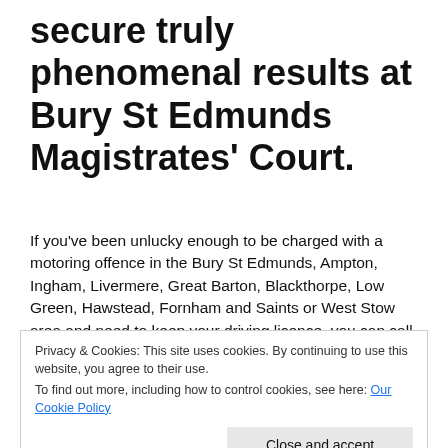secure truly phenomenal results at Bury St Edmunds Magistrates' Court.
If you've been unlucky enough to be charged with a motoring offence in the Bury St Edmunds, Ampton, Ingham, Livermere, Great Barton, Blackthorpe, Low Green, Hawstead, Fornham and Saints or West Stow area and need to keep your driving licence, you can call one of our team of Expert Motoring Lawyers at any time on 0330 33
Privacy & Cookies: This site uses cookies. By continuing to use this website, you agree to their use.
To find out more, including how to control cookies, see here: Our Cookie Policy
saving your driving licence.